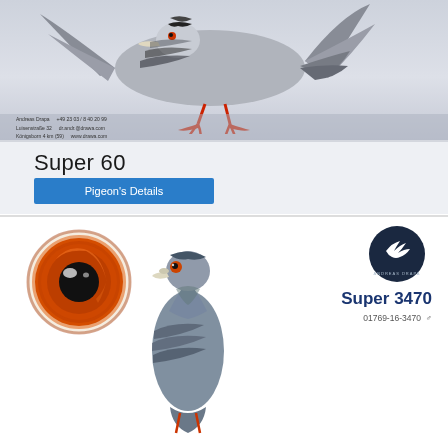[Figure (photo): Racing pigeon photographed from the side against a light grey gradient background, showing black and white barred plumage, spread wing, and red feet]
Andreas Drapa
Luisenstraße 32
Königsborn 4 km (59)
+49 23 03 / 8 40 20 99
dr.andr.@drawa.com
www.drawa.com
Super 60
Pigeon's Details
[Figure (photo): Close-up of a pigeon's eye showing orange-red iris with dark pupil]
[Figure (photo): Portrait of a racing pigeon (grey/blue checker) facing left, showing head and body]
[Figure (logo): Andreas Drapa loft logo — silhouette of a flying pigeon inside a dark circle with text around the border]
Super 3470
01769-16-3470 ♂